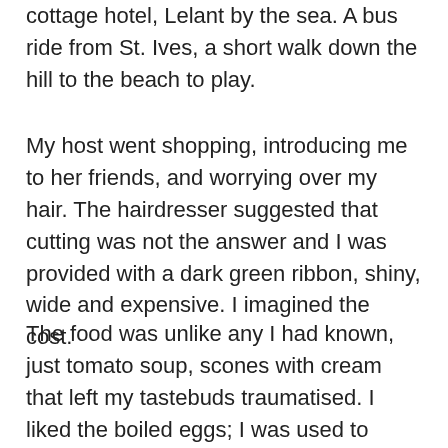cottage hotel, Lelant by the sea. A bus ride from St. Ives, a short walk down the hill to the beach to play.
My host went shopping, introducing me to her friends, and worrying over my hair. The hairdresser suggested that cutting was not the answer and I was provided with a dark green ribbon, shiny, wide and expensive. I imagined the cost.
The food was unlike any I had known, just tomato soup, scones with cream that left my tastebuds traumatised. I liked the boiled eggs; I was used to them. Cook looked after me kindly and understood, told me to say. The gardener suggested that as I must pass through the kitchen